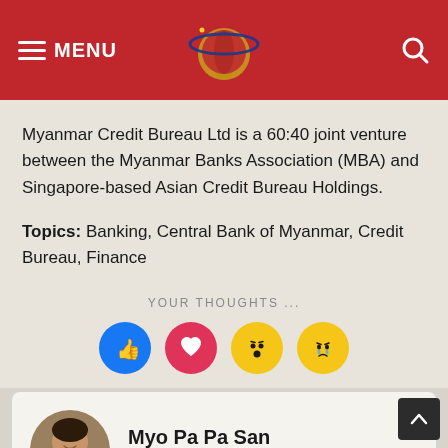MENU [logo] [search]
Myanmar Credit Bureau Ltd is a 60:40 joint venture between the Myanmar Banks Association (MBA) and Singapore-based Asian Credit Bureau Holdings.
Topics: Banking, Central Bank of Myanmar, Credit Bureau, Finance
YOUR THOUGHTS ...
[Figure (illustration): Four reaction emoji buttons: thumbs up (blue), heart (red/pink), surprised face (yellow), crying face (yellow)]
Myo Pa Pa San
The Irrawaddy